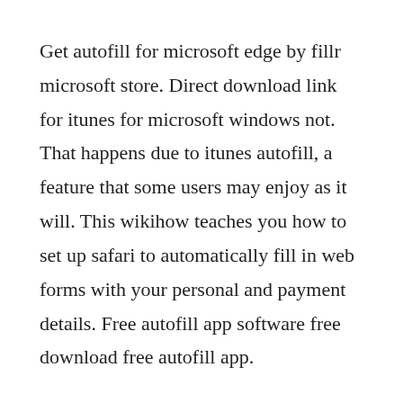Get autofill for microsoft edge by fillr microsoft store. Direct download link for itunes for microsoft windows not. That happens due to itunes autofill, a feature that some users may enjoy as it will. This wikihow teaches you how to set up safari to automatically fill in web forms with your personal and payment details. Free autofill app software free download free autofill app.
Since the autofill feature could fail to work because you may not have set autofill settings or that choosing with the right content.